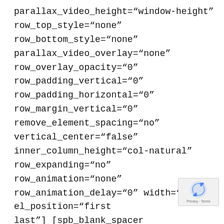parallax_video_height="window-height"
row_top_style="none" row_bottom_style="none"
parallax_video_overlay="none"
row_overlay_opacity="0" row_padding_vertical="0"
row_padding_horizontal="0" row_margin_vertical="0"
remove_element_spacing="no" vertical_center="false"
inner_column_height="col-natural"
row_expanding="no" row_animation="none"
row_animation_delay="0" width="1/1" el_position="first last"] [spb_blank_spacer height="45px" width="1/1" el_position="first last"] [spb_blog blog_type="masonry" gutters="yes" columns="2"
fullwidth="no" item_count="4" category="All"
offset="0" order_by="date" order="DESC"
show_title="yes" show_excerpt="yes"
show_details="yes" excerpt_length="20"
content output="excerpt" show read more="yes"
[Figure (other): reCAPTCHA privacy badge with blue recaptcha icon, showing Privacy - Terms text]